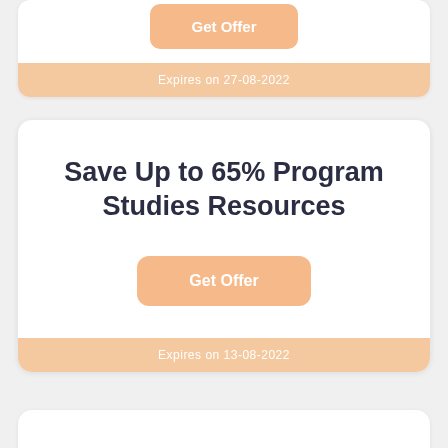Get Offer
Expires on 27-08-2022
Save Up to 65% Program Studies Resources
Get Offer
Expires on 13-08-2022